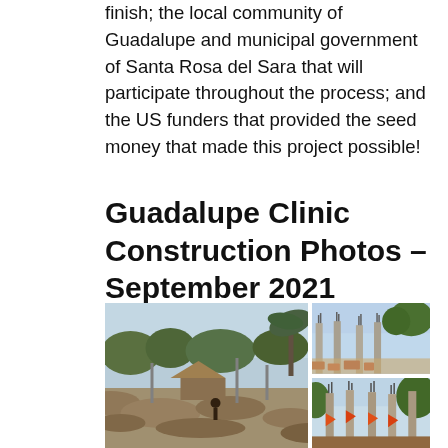finish; the local community of Guadalupe and municipal government of Santa Rosa del Sara that will participate throughout the process; and the US funders that provided the seed money that made this project possible!
Guadalupe Clinic Construction Photos – September 2021
[Figure (photo): Construction site photos of Guadalupe Clinic from September 2021. Left: wide landscape view of cleared construction site with thatched hut and palm trees in background. Top right: construction site showing concrete pillars/columns with brick rubble on sandy ground and palm trees. Bottom right: closer view of concrete columns/pillars under construction with orange markers and vegetation.]